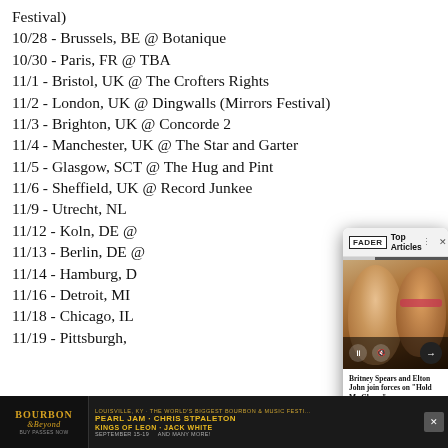Festival)
10/28 - Brussels, BE @ Botanique
10/30 - Paris, FR @ TBA
11/1 - Bristol, UK @ The Crofters Rights
11/2 - London, UK @ Dingwalls (Mirrors Festival)
11/3 - Brighton, UK @ Concorde 2
11/4 - Manchester, UK @ The Star and Garter
11/5 - Glasgow, SCT @ The Hug and Pint
11/6 - Sheffield, UK @ Record Junkee
11/9 - Utrecht, NL @ [obscured]
11/12 - Koln, DE @ [obscured]
11/13 - Berlin, DE @ [obscured]
11/14 - Hamburg, D[obscured]
11/16 - Detroit, MI[obscured]
11/18 - Chicago, IL [obscured]
11/19 - Pittsburgh, [obscured]
[Figure (screenshot): FADER Top Articles media popup card showing Britney Spears and Elton John photo with caption 'Britney Spears and Elton John join forces on Hold Me Closer', with media playback controls]
[Figure (infographic): Advertisement banner for Bourbon & Beyond festival in Louisville, KY featuring Pearl Jam, Chris Stapleton, Kings of Leon, Jack White, September 15-19]